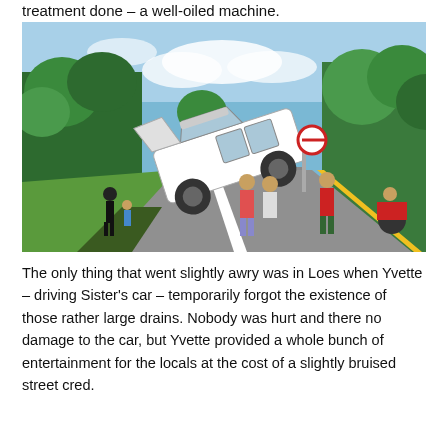treatment done – a well-oiled machine.
[Figure (photo): A white SUV/4WD vehicle that has gone off the road edge and is tilted at an angle over a drain or ditch beside a tropical road. Several people are standing around the vehicle. Trees and vegetation line the road. The road has white lane markings and yellow edge lines.]
The only thing that went slightly awry was in Loes when Yvette – driving Sister's car – temporarily forgot the existence of those rather large drains. Nobody was hurt and there no damage to the car, but Yvette provided a whole bunch of entertainment for the locals at the cost of a slightly bruised street cred.